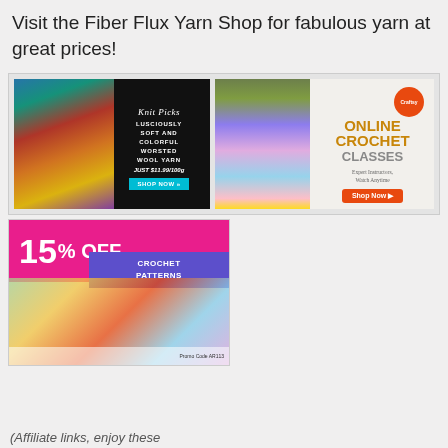Visit the Fiber Flux Yarn Shop for fabulous yarn at great prices!
[Figure (illustration): Knit Picks advertisement showing colorful yarn skeins with text: LUSCIOUSLY SOFT AND COLORFUL WORSTED WOOL YARN JUST $11.99/100g with a SHOP NOW button]
[Figure (illustration): Craftsy advertisement for ONLINE CROCHET CLASSES with stacked colorful yarn and text: Expert Instructors, Watch Anytime, Shop Now button]
[Figure (illustration): Advertisement showing 15% OFF CROCHET PATTERNS with a colorful crocheted item]
(Affiliate links, enjoy these